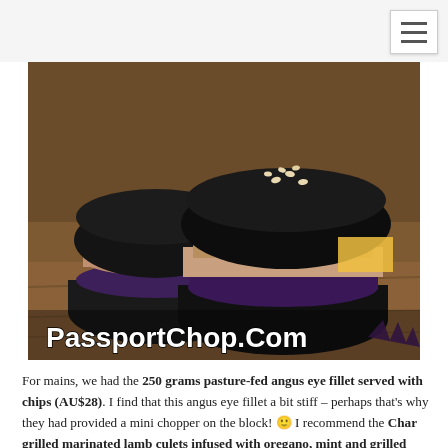[Figure (photo): Top portion of a food photo showing brown/terracotta colored dishes and a teal cup on a table]
[Figure (photo): Three black burger buns filled with grilled meat and purple cabbage/slaw, sesame seeds on top bun, on a wooden surface. Watermark reads PassportChop.Com in white bold text at the bottom.]
For mains, we had the 250 grams pasture-fed angus eye fillet served with chips (AU$28).  I find that this angus eye fillet a bit stiff – perhaps that's why they had provided a mini chopper on the block! 🙂 I recommend the Char grilled marinated lamb culets infused with oregano, mint and grilled lemon (AU$34) – eating this dish can get